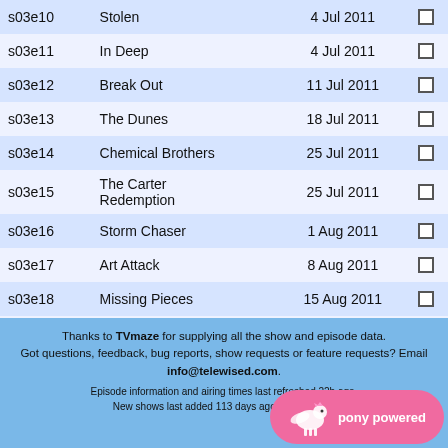| Episode | Title | Date |  |
| --- | --- | --- | --- |
| s03e10 | Stolen | 4 Jul 2011 | ☐ |
| s03e11 | In Deep | 4 Jul 2011 | ☐ |
| s03e12 | Break Out | 11 Jul 2011 | ☐ |
| s03e13 | The Dunes | 18 Jul 2011 | ☐ |
| s03e14 | Chemical Brothers | 25 Jul 2011 | ☐ |
| s03e15 | The Carter Redemption | 25 Jul 2011 | ☐ |
| s03e16 | Storm Chaser | 1 Aug 2011 | ☐ |
| s03e17 | Art Attack | 8 Aug 2011 | ☐ |
| s03e18 | Missing Pieces | 15 Aug 2011 | ☐ |
| s03e19 | Class Of Their Own | 22 Aug 2011 | ☐ |
| s03e20 | The Intervention | 29 Aug 2011 | ☐ |
| s03e21 | Bad Company | 29 Aug 2011 | ☐ |
| s03e22 | Two Fires | 5 Sep 2011 | ☐ |
Thanks to TVmaze for supplying all the show and episode data. Got questions, feedback, bug reports, show requests or feature requests? Email info@telewised.com. Episode information and airing times last refreshed 22h ago. New shows last added 113 days ago. Codebase... pony powered